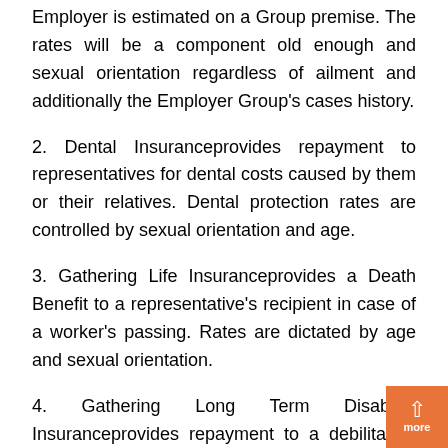Employer is estimated on a Group premise. The rates will be a component old enough and sexual orientation regardless of ailment and additionally the Employer Group's cases history.
2. Dental Insuranceprovides repayment to representatives for dental costs caused by them or their relatives. Dental protection rates are controlled by sexual orientation and age.
3. Gathering Life Insuranceprovides a Death Benefit to a representative's recipient in case of a worker's passing. Rates are dictated by age and sexual orientation.
4. Gathering Long Term Disability Insuranceprovides repayment to a debilitated. worker. The advantage is communicated as a percent of compensation yet no more